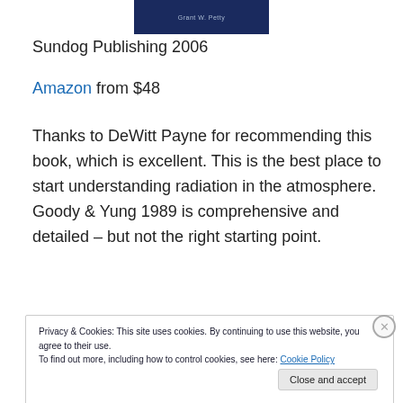[Figure (other): Book cover showing dark navy background with author name Grant W. Petty]
Sundog Publishing 2006
Amazon from $48
Thanks to DeWitt Payne for recommending this book, which is excellent. This is the best place to start understanding radiation in the atmosphere. Goody & Yung 1989 is comprehensive and detailed – but not the right starting point.
Privacy & Cookies: This site uses cookies. By continuing to use this website, you agree to their use.
To find out more, including how to control cookies, see here: Cookie Policy